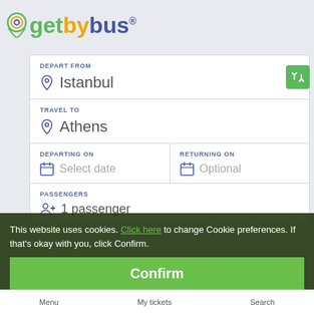[Figure (logo): GetByBus logo with circular icon and colorful text]
DEPART FROM
Istanbul
TRAVEL TO
Athens
DEPARTING ON
Select date
RETURNING ON
Optional
PASSENGERS
1 passenger
This website uses cookies. Click here to change Cookie preferences. If that's okay with you, click Confirm.
Confirm
Menu   My tickets   Search